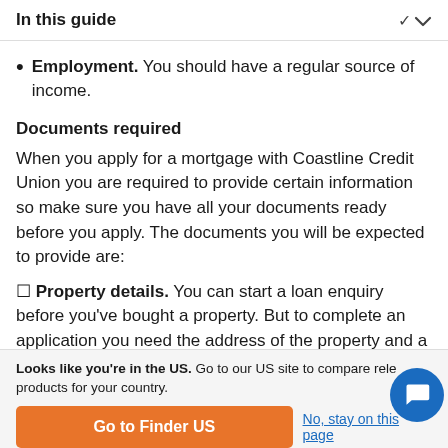In this guide
Employment. You should have a regular source of income.
Documents required
When you apply for a mortgage with Coastline Credit Union you are required to provide certain information so make sure you have all your documents ready before you apply. The documents you will be expected to provide are:
Property details. You can start a loan enquiry before you've bought a property. But to complete an application you need the address of the property and a signed contract of sale.
Looks like you're in the US. Go to our US site to compare rele products for your country.
Go to Finder US
No, stay on this page